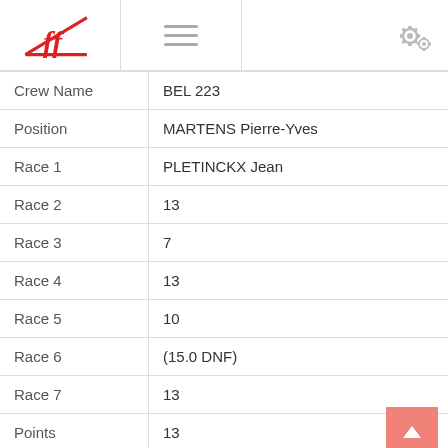FF Logo / Navigation header
| Field | Value |
| --- | --- |
| Crew Name | BEL 223 |
| Position | MARTENS Pierre-Yves |
| Race 1 | PLETINCKX Jean |
| Race 2 | 13 |
| Race 3 | 7 |
| Race 4 | 13 |
| Race 5 | 10 |
| Race 6 | (15.0 DNF) |
| Race 7 | 13 |
| Points | 13 |
|  | 84 |
|  | 69 |